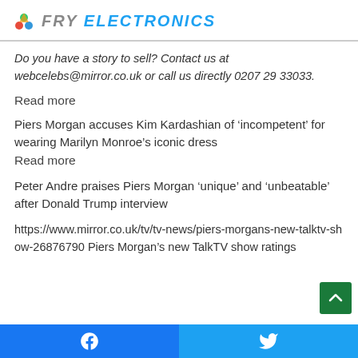FRY ELECTRONICS
Do you have a story to sell? Contact us at webcelebs@mirror.co.uk or call us directly 0207 29 33033.
Read more
Piers Morgan accuses Kim Kardashian of ‘incompetent’ for wearing Marilyn Monroe’s iconic dress
Read more
Peter Andre praises Piers Morgan ‘unique’ and ‘unbeatable’ after Donald Trump interview
https://www.mirror.co.uk/tv/tv-news/piers-morgans-new-talktv-show-26876790 Piers Morgan’s new TalkTV show ratings
Facebook | Twitter